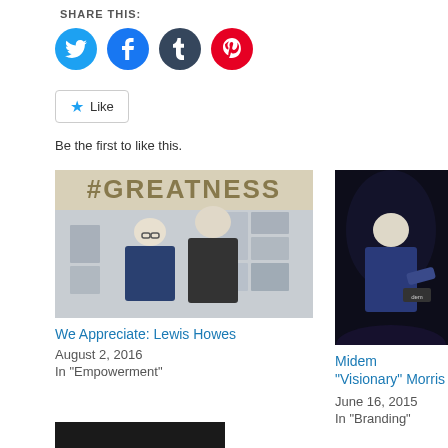SHARE THIS:
[Figure (other): Social media share icons: Twitter (blue), Facebook (blue), Tumblr (dark navy), Pinterest (red)]
[Figure (other): Like button with star icon]
Be the first to like this.
[Figure (photo): Two men posing in front of a #GREATNESS banner with photos on wall]
We Appreciate: Lewis Howes
August 2, 2016
In "Empowerment"
[Figure (photo): Man in dark jacket on dark stage, Midem event]
Midem “Visionary” Morris
June 16, 2015
In "Branding"